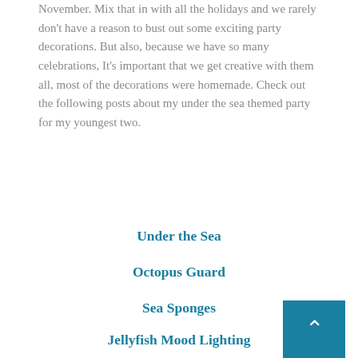November. Mix that in with all the holidays and we rarely don't have a reason to bust out some exciting party decorations. But also, because we have so many celebrations, It's important that we get creative with them all, most of the decorations were homemade. Check out the following posts about my under the sea themed party for my youngest two.
Under the Sea
Octopus Guard
Sea Sponges
Jellyfish Mood Lighting
[Figure (photo): A dark-colored decorative bowl or dish with a scalloped white interior, photographed from above on a dark surface. A teal scroll-to-top button is visible in the bottom right corner.]